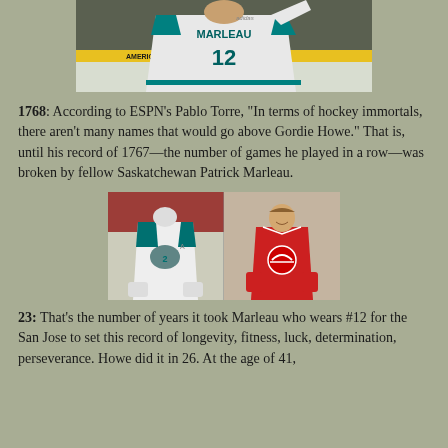[Figure (photo): Hockey player wearing jersey number 12 with name MARLEAU, viewed from behind, raising arm, on ice rink with American First arena signage visible]
1768: According to ESPN's Pablo Torre, "In terms of hockey immortals, there aren't many names that would go above Gordie Howe." That is, until his record of 1767—the number of games he played in a row—was broken by fellow Saskatchewan Patrick Marleau.
[Figure (photo): Side-by-side photos: left shows Patrick Marleau in San Jose Sharks white jersey number 2, right shows Gordie Howe in Detroit Red Wings red jersey, smiling, vintage photo]
23: That's the number of years it took Marleau who wears #12 for the San Jose to set this record of longevity, fitness, luck, determination, perseverance. Howe did it in 26. At the age of 41,